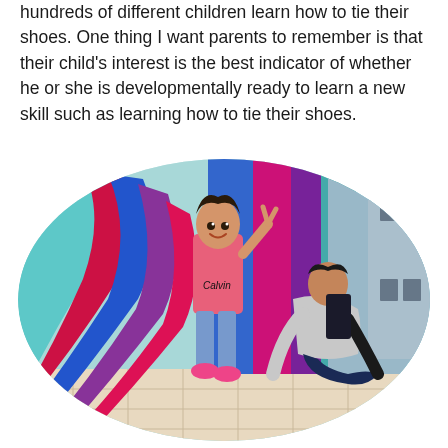hundreds of different children learn how to tie their shoes. One thing I want parents to remember is that their child's interest is the best indicator of whether he or she is developmentally ready to learn a new skill such as learning how to tie their shoes.
[Figure (photo): A young girl in a pink Calvin Klein shirt and jeans standing against a colorful mural wall making a peace sign, while an adult man kneels down at her feet, apparently helping tie her shoes. The photo is displayed in an oval/ellipse crop.]